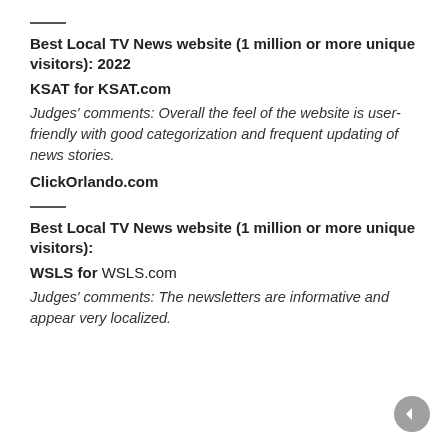—
Best Local TV News website (1 million or more unique visitors): 2022
KSAT for KSAT.com
Judges' comments: Overall the feel of the website is user-friendly with good categorization and frequent updating of news stories.
ClickOrlando.com
—
Best Local TV News website (1 million or more unique visitors):
WSLS for WSLS.com
Judges' comments: The newsletters are informative and appear very localized.